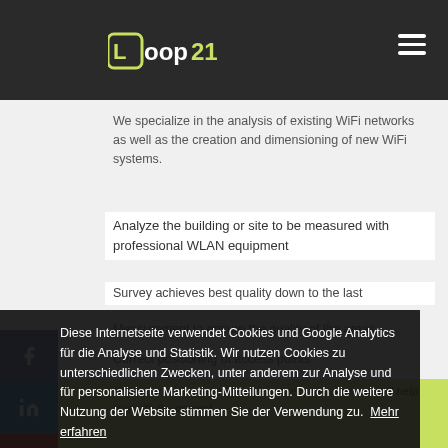loop21 logo and hamburger menu navigation bar
We specialize in the analysis of existing WiFi networks as well as the creation and dimensioning of new WiFi systems.
Analyze the building or site to be measured with professional WLAN equipment
Survey achieves best quality down to the last
Measurement to ensure the quality of the areas
Correct positioning of access points
Diese Internetseite verwendet Cookies und Google Analytics für die Analyse und Statistik. Wir nutzen Cookies zu unterschiedlichen Zwecken, unter anderem zur Analyse und für personalisierte Marketing-Mitteilungen. Durch die weitere Nutzung der Website stimmen Sie der Verwendung zu. Mehr erfahren
OK
Our experts have years of experience in this area and will help you with the correct